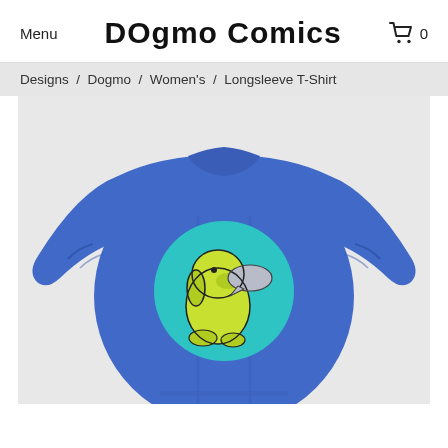Menu   Dogmo Comics   🛒 0
Designs  /  Dogmo  /  Women's  /  Longsleeve T-Shirt
[Figure (photo): Blue longsleeve t-shirt with a circular teal design featuring a yellow-green cartoon dog with a speech bubble, shown on a white/grey background.]